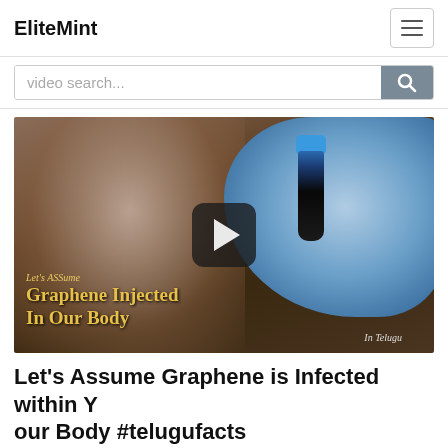EliteMint
video search...
[Figure (screenshot): Video thumbnail showing a scientist in blue gloves holding a dark vial. Overlay text reads 'Let's Assume Graphene Injected In Our Body In Telugu'. A play button is centered on the image.]
Let's Assume Graphene is Infected within Your Body #telugufacts